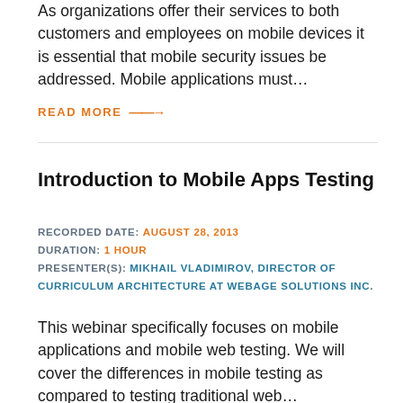As organizations offer their services to both customers and employees on mobile devices it is essential that mobile security issues be addressed. Mobile applications must…
READ MORE →
Introduction to Mobile Apps Testing
RECORDED DATE: AUGUST 28, 2013
DURATION: 1 HOUR
PRESENTER(S): MIKHAIL VLADIMIROV, DIRECTOR OF CURRICULUM ARCHITECTURE AT WEBAGE SOLUTIONS INC.
This webinar specifically focuses on mobile applications and mobile web testing. We will cover the differences in mobile testing as compared to testing traditional web…